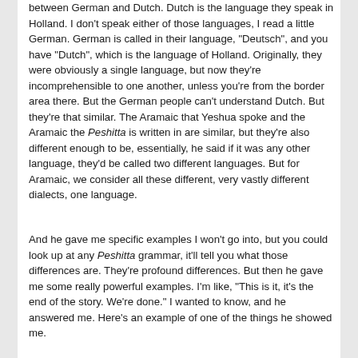between German and Dutch. Dutch is the language they speak in Holland. I don't speak either of those languages, I read a little German. German is called in their language, "Deutsch", and you have "Dutch", which is the language of Holland. Originally, they were obviously a single language, but now they're incomprehensible to one another, unless you're from the border area there. But the German people can't understand Dutch. But they're that similar. The Aramaic that Yeshua spoke and the Aramaic the Peshitta is written in are similar, but they're also different enough to be, essentially, he said if it was any other language, they'd be called two different languages. But for Aramaic, we consider all these different, very vastly different dialects, one language.
And he gave me specific examples I won't go into, but you could look up at any Peshitta grammar, it'll tell you what those differences are. They're profound differences. But then he gave me some really powerful examples. I'm like, "This is it, it's the end of the story. We're done." I wanted to know, and he answered me. Here's an example of one of the things he showed me.